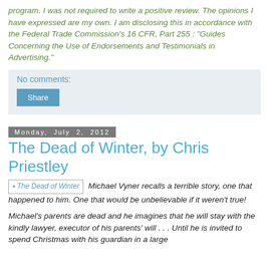program. I was not required to write a positive review. The opinions I have expressed are my own. I am disclosing this in accordance with the Federal Trade Commission's 16 CFR, Part 255 : "Guides Concerning the Use of Endorsements and Testimonials in Advertising."
No comments:
Share
Monday, July 2, 2012
The Dead of Winter, by Chris Priestley
The Dead of Winter  Michael Vyner recalls a terrible story, one that happened to him. One that would be unbelievable if it weren't true!
Michael's parents are dead and he imagines that he will stay with the kindly lawyer, executor of his parents' will . . . Until he is invited to spend Christmas with his guardian in a large